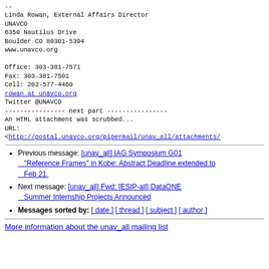--
Linda Rowan, External Affairs Director
UNAVCO
6350 Nautilus Drive
Boulder CO 80301-5394
www.unavco.org

Office: 303-381-7571
Fax: 303-381-7501
Cell: 202-577-4460
rowan at unavco.org
Twitter @UNAVCO
---------------- next part ----------------
An HTML attachment was scrubbed...
URL:
<http://postal.unavco.org/pipermail/unav_all/attachments/
Previous message: [unav_all] IAG Symposium G01 "Reference Frames" in Kobe: Abstract Deadline extended to Feb 21.
Next message: [unav_all] Fwd: [ESIP-all] DataONE Summer Internship Projects Announced
Messages sorted by: [ date ] [ thread ] [ subject ] [ author ]
More information about the unav_all mailing list